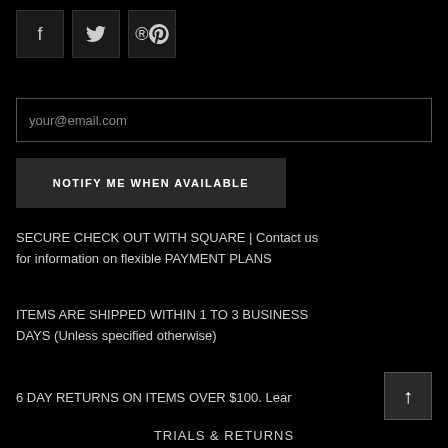[Figure (other): Three social media icon buttons: Facebook (f), Twitter (bird), Pinterest (p)]
your@email.com
NOTIFY ME WHEN AVAILABLE
SECURE CHECK OUT WITH SQUARE | Contact us for information on flexible PAYMENT PLANS
ITEMS ARE SHIPPED WITHIN 1 TO 3 BUSINESS DAYS (Unless specified otherwise)
6 DAY RETURNS ON ITEMS OVER $100. Learn
TRIALS & RETURNS